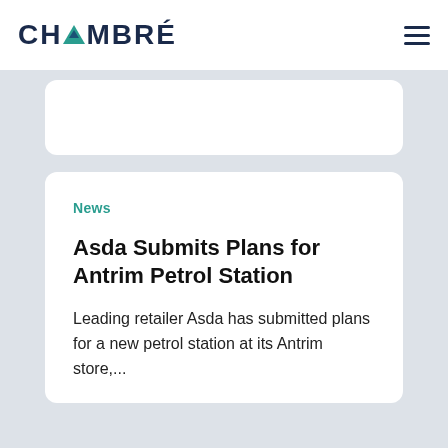CHAMBRÉ
News
Asda Submits Plans for Antrim Petrol Station
Leading retailer Asda has submitted plans for a new petrol station at its Antrim store,...